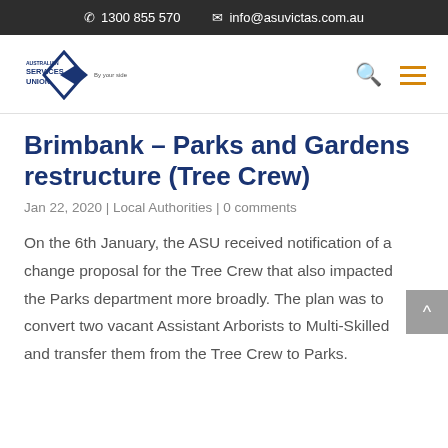1300 855 570  info@asuvictas.com.au
[Figure (logo): Australian Services Union logo — diamond shape with 'SERVICES UNION' text and 'By your side' tagline]
Brimbank – Parks and Gardens restructure (Tree Crew)
Jan 22, 2020 | Local Authorities | 0 comments
On the 6th January, the ASU received notification of a change proposal for the Tree Crew that also impacted the Parks department more broadly. The plan was to convert two vacant Assistant Arborists to Multi-Skilled and transfer them from the Tree Crew to Parks.